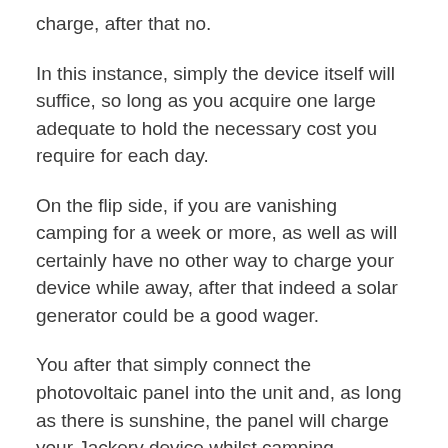charge, after that no.
In this instance, simply the device itself will suffice, so long as you acquire one large adequate to hold the necessary cost you require for each day.
On the flip side, if you are vanishing camping for a week or more, as well as will certainly have no other way to charge your device while away, after that indeed a solar generator could be a good wager.
You after that simply connect the photovoltaic panel into the unit and, as long as there is sunshine, the panel will charge your Jackery device whilst camping.